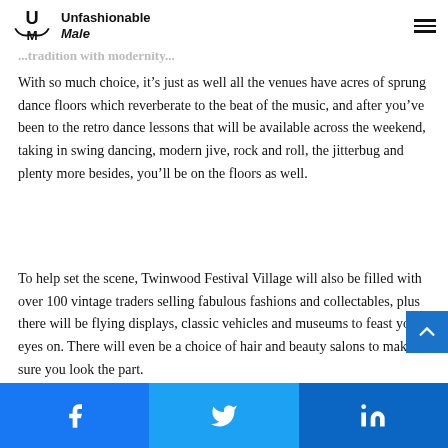Unfashionable Male
...tradition with modernity...
With so much choice, it’s just as well all the venues have acres of sprung dance floors which reverberate to the beat of the music, and after you’ve been to the retro dance lessons that will be available across the weekend, taking in swing dancing, modern jive, rock and roll, the jitterbug and plenty more besides, you’ll be on the floors as well.
To help set the scene, Twinwood Festival Village will also be filled with over 100 vintage traders selling fabulous fashions and collectables, plus there will be flying displays, classic vehicles and museums to feast your eyes on. There will even be a choice of hair and beauty salons to make sure you look the part.
Facebook | Twitter | LinkedIn